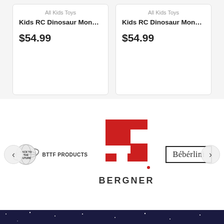All Kids Toys
Kids RC Dinosaur Mon…
$54.99
All Kids Toys
Kids RC Dinosaur Mon…
$54.99
[Figure (logo): BTTF Products logo with planet/saturn icon]
[Figure (logo): Bergner red letter F/H shaped logo with text BERGNER below]
[Figure (logo): Beberlini text logo with rectangular border]
KIDS TOYS